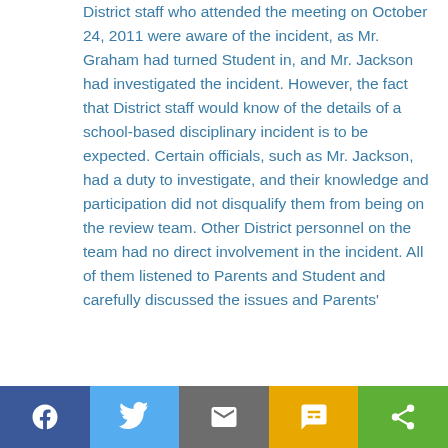District staff who attended the meeting on October 24, 2011 were aware of the incident, as Mr. Graham had turned Student in, and Mr. Jackson had investigated the incident. However, the fact that District staff would know of the details of a school-based disciplinary incident is to be expected. Certain officials, such as Mr. Jackson, had a duty to investigate, and their knowledge and participation did not disqualify them from being on the review team. Other District personnel on the team had no direct involvement in the incident. All of them listened to Parents and Student and carefully discussed the issues and Parents'
[Figure (other): Social sharing bar with Facebook, Twitter, Email, SMS, and Share buttons]